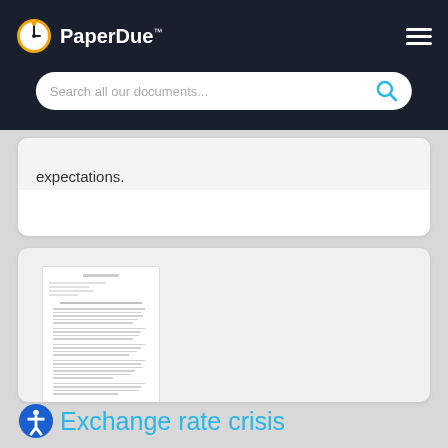PaperDue™
Search all our documents...
expectations.
[Figure (screenshot): Thumbnail preview of a document page with lines of text]
Exchange rate crisis